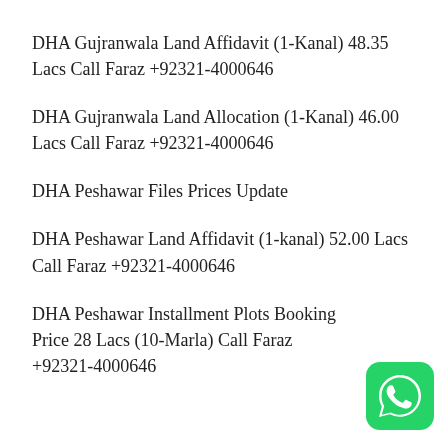DHA Gujranwala Land Affidavit (1-Kanal) 48.35 Lacs Call Faraz +92321-4000646
DHA Gujranwala Land Allocation (1-Kanal) 46.00 Lacs Call Faraz +92321-4000646
DHA Peshawar Files Prices Update
DHA Peshawar Land Affidavit (1-kanal) 52.00 Lacs Call Faraz +92321-4000646
DHA Peshawar Installment Plots Booking Price 28 Lacs (10-Marla) Call Faraz +92321-4000646
[Figure (logo): WhatsApp green rounded square icon with white phone handset symbol]